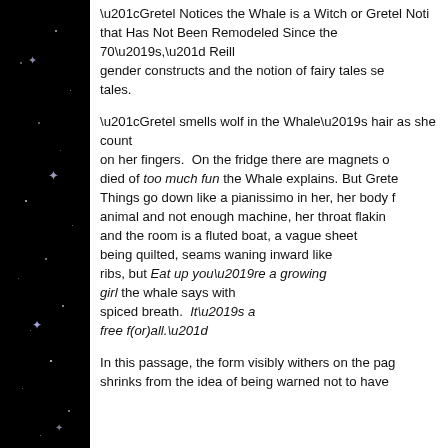“Gretel Notices the Whale is a Witch or Gretel Noti… that Has Not Been Remodeled Since the 70’s,” Reill… gender constructs and the notion of fairy tales se… tales.
“Gretel smells wolf in the Whale’s hair as she count… on her fingers. On the fridge there are magnets o… died of too much fun the Whale explains. But Grete… Things go down like a pianissimo in her, her body f… animal and not enough machine, her throat flakin… and the room is a fluted boat, a vague sheet being quilted, seams waning inward like ribs, but Eat up you’re a growing girl the whale says with spiced breath. It’s a free f(or)all.”
In this passage, the form visibly withers on the pag… shrinks from the idea of being warned not to have…